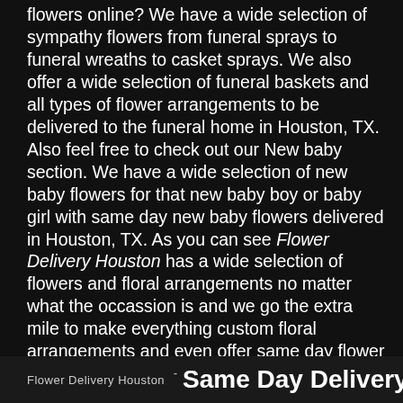flowers online?  We have a wide selection of sympathy flowers from funeral sprays to funeral wreaths to casket sprays.  We also offer a wide selection of funeral baskets and all types of flower arrangements to be delivered to the funeral home in Houston, TX.  Also feel free to check out our New baby section.  We have a wide selection of new baby flowers for that new baby boy or baby girl with same day new baby flowers delivered in Houston, TX.  As you can see Flower Delivery Houston has a wide selection of flowers and floral arrangements no matter what the occassion is and we go the extra mile to make everything custom floral arrangements and even offer same day flower delivery to Houston, tx!
Flower Delivery Houston  -  Same Day Delivery